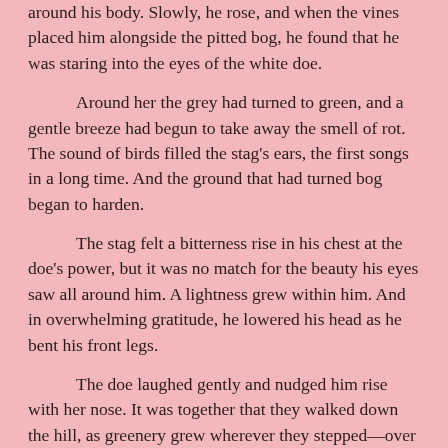around his body.  Slowly, he rose, and when the vines placed him alongside the pitted bog, he found that he was staring into the eyes of the white doe.

Around her the grey had turned to green, and a gentle breeze had begun to take away the smell of rot.  The sound of birds filled the stag's ears, the first songs in a long time.  And the ground that had turned bog began to harden.

The stag felt a bitterness rise in his chest at the doe's power, but it was no match for the beauty his eyes saw all around him.  A lightness grew within him.  And in overwhelming gratitude, he lowered his head as he bent his front legs.

The doe laughed gently and nudged him rise with her nose.  It was together that they walked down the hill, as greenery grew wherever they stepped—over land that was no longer his.  And in that knowledge, the stag found his heart had healed.